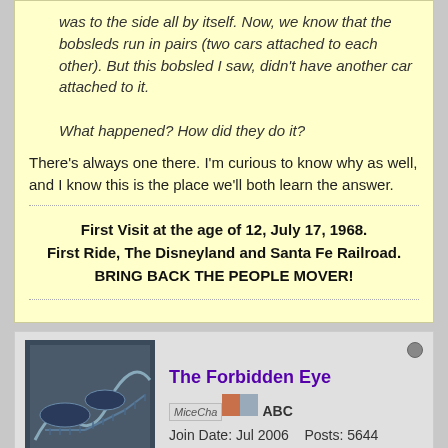was to the side all by itself. Now, we know that the bobsleds run in pairs (two cars attached to each other). But this bobsled I saw, didn't have another car attached to it.

What happened? How did they do it?
There's always one there. I'm curious to know why as well, and I know this is the place we'll both learn the answer.
First Visit at the age of 12, July 17, 1968.
First Ride, The Disneyland and Santa Fe Railroad.
BRING BACK THE PEOPLE MOVER!
The Forbidden Eye
Join Date: Jul 2006    Posts: 5644
12-04-2009, 06:29 PM
#4
Re: Matterhorn Bobsleds